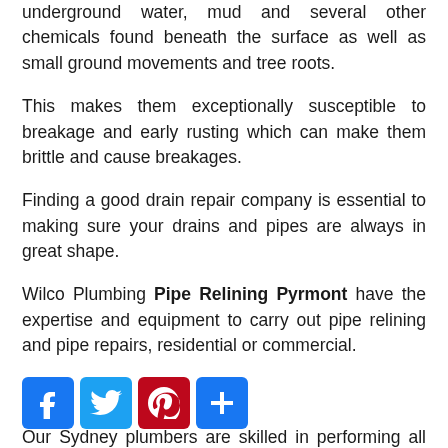underground water, mud and several other chemicals found beneath the surface as well as small ground movements and tree roots.
This makes them exceptionally susceptible to breakage and early rusting which can make them brittle and cause breakages.
Finding a good drain repair company is essential to making sure your drains and pipes are always in great shape.
Wilco Plumbing Pipe Relining Pyrmont have the expertise and equipment to carry out pipe relining and pipe repairs, residential or commercial.
[Figure (infographic): Social media sharing icons: Facebook (blue), Twitter (blue), Pinterest (red), Add/Share (blue)]
Our Sydney plumbers are skilled in performing all kinds